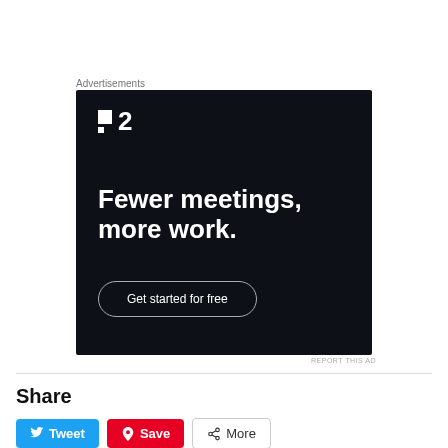Advertisements
[Figure (other): Advertisement for a project management tool (P2 logo). Dark background with text 'Fewer meetings, more work.' and a 'Get started for free' button.]
REPORT THIS AD
Share
Tweet
Save
More